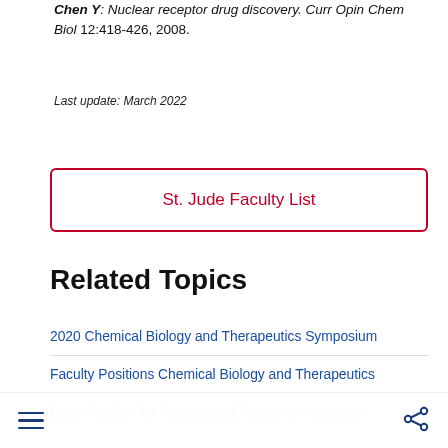Chen Y: Nuclear receptor drug discovery. Curr Opin Chem Biol 12:418-426, 2008.
Last update: March 2022
St. Jude Faculty List
Related Topics
2020 Chemical Biology and Therapeutics Symposium
Faculty Positions Chemical Biology and Therapeutics
Open Position for Postdoctoral Research Associate